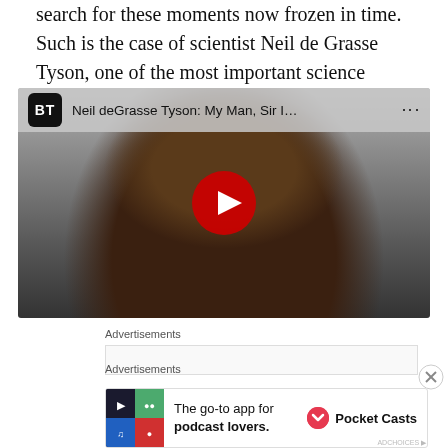search for these moments now frozen in time. Such is the case of scientist Neil de Grasse Tyson, one of the most important science commentators since Carl Sagan:
[Figure (screenshot): YouTube video thumbnail showing Neil deGrasse Tyson with the video title 'Neil deGrasse Tyson: My Man, Sir I...' and BT logo, with a red YouTube play button overlay]
Advertisements
Advertisements
[Figure (other): Advertisement banner for Pocket Casts: 'The go-to app for podcast lovers.' with Pocket Casts logo and colorful tile icon]